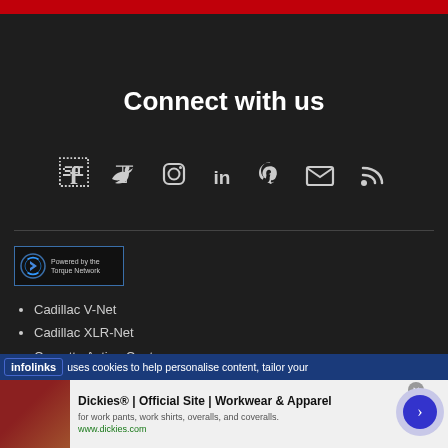Connect with us
[Figure (infographic): Social media icons row: Facebook, Twitter, Instagram, LinkedIn, Pinterest, Email, RSS]
[Figure (logo): Powered by the Torque Network badge with blue power icon]
Cadillac V-Net
Cadillac XLR-Net
Corvette Action Center
uses cookies to help personalise content, tailor your
[Figure (infographic): Dickies® | Official Site | Workwear & Apparel advertisement with product image and arrow button]